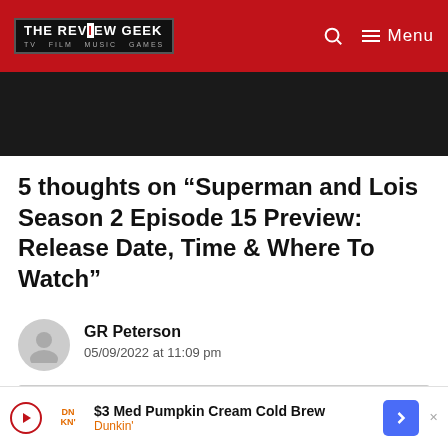THE REVIEW GEEK — TV FILM MUSIC GAMES
[Figure (other): Dark banner / advertisement placeholder below navigation bar]
5 thoughts on “Superman and Lois Season 2 Episode 15 Preview: Release Date, Time & Where To Watch”
GR Peterson
05/09/2022 at 11:09 pm
Comment input box (partially visible)
[Figure (other): Advertisement banner: $3 Med Pumpkin Cream Cold Brew — Dunkin']